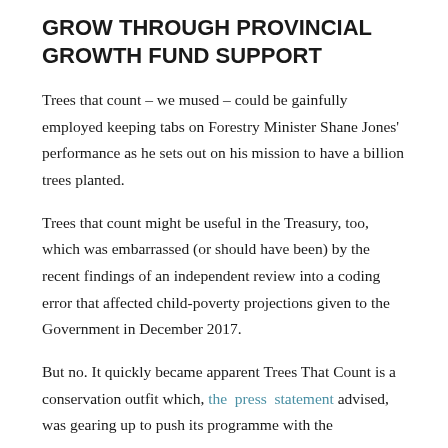GROW THROUGH PROVINCIAL GROWTH FUND SUPPORT
Trees that count – we mused – could be gainfully employed keeping tabs on Forestry Minister Shane Jones' performance as he sets out on his mission to have a billion trees planted.
Trees that count might be useful in the Treasury, too, which was embarrassed (or should have been) by the recent findings of an independent review into a coding error that affected child-poverty projections given to the Government in December 2017.
But no. It quickly became apparent Trees That Count is a conservation outfit which, the press statement advised, was gearing up to push its programme with the